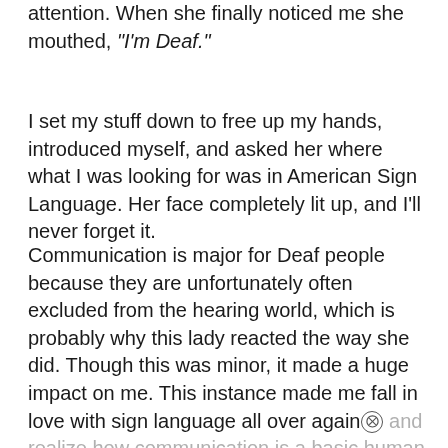attention. When she finally noticed me she mouthed, "I'm Deaf."
I set my stuff down to free up my hands, introduced myself, and asked her where what I was looking for was in American Sign Language. Her face completely lit up, and I'll never forget it.
Communication is major for Deaf people because they are unfortunately often excluded from the hearing world, which is probably why this lady reacted the way she did. Though this was minor, it made a huge impact on me. This instance made me fall in love with sign language all over again and realize how communication is a basic human right that many people do not have or have